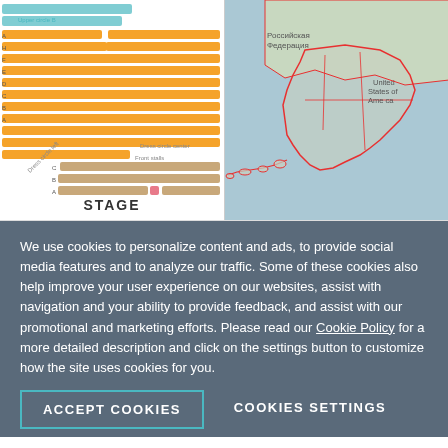[Figure (other): Theater seating chart showing rows of orange seats arranged in curved sections, with labels for Dress circle left, Dress circle center, Front stalls, STAGE. Blue seats visible in upper circle area.]
[Figure (map): Map showing Alaska (United States of America) and eastern Russia (Российская Федерация). Alaska is outlined in red with internal state/district divisions on a blue-gray background.]
We use cookies to personalize content and ads, to provide social media features and to analyze our traffic. Some of these cookies also help improve your user experience on our websites, assist with navigation and your ability to provide feedback, and assist with our promotional and marketing efforts. Please read our Cookie Policy for a more detailed description and click on the settings button to customize how the site uses cookies for you.
ACCEPT COOKIES
COOKIES SETTINGS